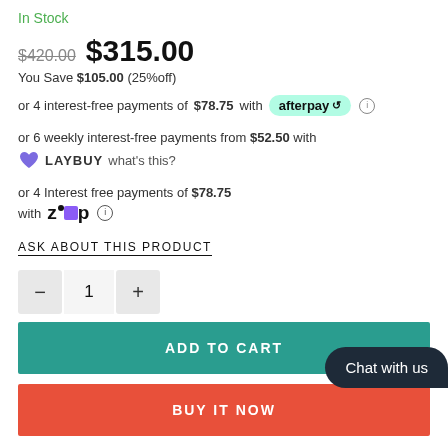In Stock
$420.00  $315.00
You Save $105.00 (25%off)
or 4 interest-free payments of $78.75 with afterpay
or 6 weekly interest-free payments from $52.50 with LAYBUY what's this?
or 4 Interest free payments of $78.75 with Zip
ASK ABOUT THIS PRODUCT
1
ADD TO CART
BUY IT NOW
Chat with us